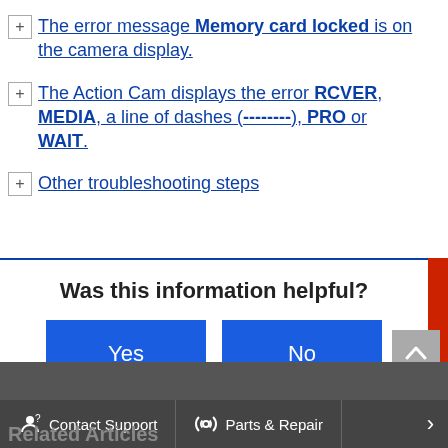The error message Memory card locked is on the camera display.
The Action Cam displays the error RCVER, MEDIA, a line of dashes (--------), PRO or WAIT.
Other troubleshooting steps
Was this information helpful?
Yes
No
Contact Support   Parts & Repair
Related Articles